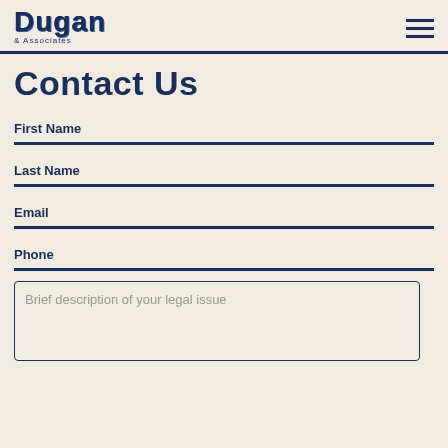Dugan & Associates
Contact Us
First Name
Last Name
Email
Phone
Brief description of your legal issue